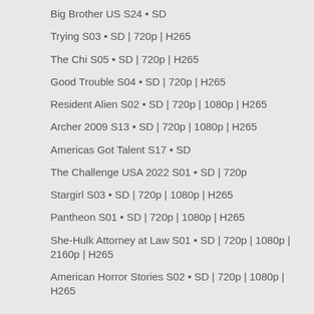Big Brother US S24 • SD
Trying S03 • SD | 720p | H265
The Chi S05 • SD | 720p | H265
Good Trouble S04 • SD | 720p | H265
Resident Alien S02 • SD | 720p | 1080p | H265
Archer 2009 S13 • SD | 720p | 1080p | H265
Americas Got Talent S17 • SD
The Challenge USA 2022 S01 • SD | 720p
Stargirl S03 • SD | 720p | 1080p | H265
Pantheon S01 • SD | 720p | 1080p | H265
She-Hulk Attorney at Law S01 • SD | 720p | 1080p | 2160p | H265
American Horror Stories S02 • SD | 720p | 1080p | H265